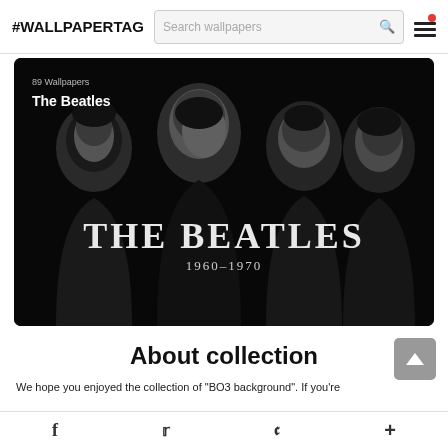#WALLPAPERTAG
[Figure (screenshot): The Beatles wallpaper collection page showing four band members in black and white photo with 'THE BEATLES 1960-1970' text. Header shows '89 Wallpapers' and 'The Beatles' overlay text.]
About collection
We hope you enjoyed the collection of "BO3 background". If you're
f  t  P  +